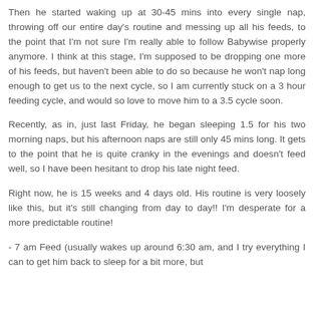Then he started waking up at 30-45 mins into every single nap, throwing off our entire day's routine and messing up all his feeds, to the point that I'm not sure I'm really able to follow Babywise properly anymore. I think at this stage, I'm supposed to be dropping one more of his feeds, but haven't been able to do so because he won't nap long enough to get us to the next cycle, so I am currently stuck on a 3 hour feeding cycle, and would so love to move him to a 3.5 cycle soon.
Recently, as in, just last Friday, he began sleeping 1.5 for his two morning naps, but his afternoon naps are still only 45 mins long. It gets to the point that he is quite cranky in the evenings and doesn't feed well, so I have been hesitant to drop his late night feed.
Right now, he is 15 weeks and 4 days old. His routine is very loosely like this, but it's still changing from day to day!! I'm desperate for a more predictable routine!
- 7 am Feed (usually wakes up around 6:30 am, and I try everything I can to get him back to sleep for a bit more, but